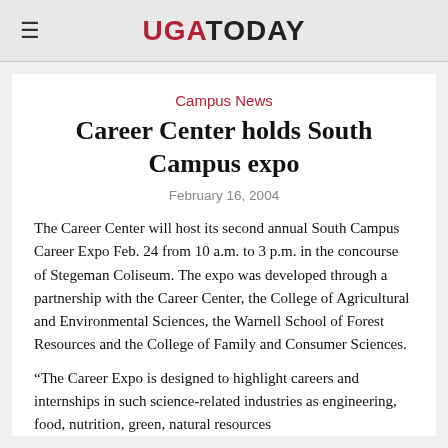UGA TODAY
Campus News
Career Center holds South Campus expo
February 16, 2004
The Career Center will host its second annual South Campus Career Expo Feb. 24 from 10 a.m. to 3 p.m. in the concourse of Stegeman Coliseum. The expo was developed through a partnership with the Career Center, the College of Agricultural and Environmental Sciences, the Warnell School of Forest Resources and the College of Family and Consumer Sciences.
“The Career Expo is designed to highlight careers and internships in such science-related industries as engineering, food, nutrition, green, natural resources